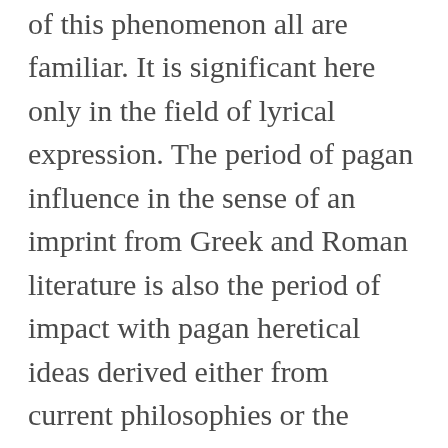place. with the general aspects of this phenomenon all are familiar. It is significant here only in the field of lyrical expression. The period of pagan influence in the sense of an imprint from Greek and Roman literature is also the period of impact with pagan heretical ideas derived either from current philosophies or the practices of mystery religions.
Once more the chart and compass offered by the direct extant sources are the best guides through the cross currents of the literature in our possession. Representative pagan poetry must be examined, at least of a few general types, in order to establish what influence, if any, was exerted upon contemporary Christian